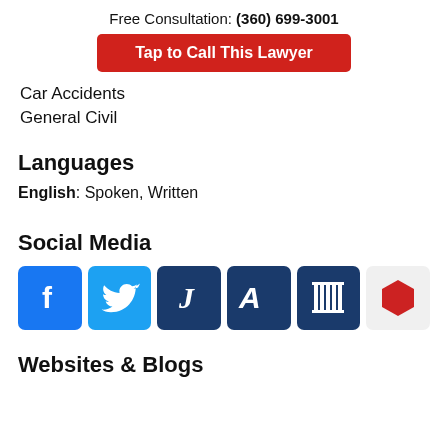Free Consultation: (360) 699-3001
Tap to Call This Lawyer
Car Accidents
General Civil
Languages
English: Spoken, Written
Social Media
[Figure (illustration): Social media icons: Facebook, Twitter, JD (Justia), Avvo (A), law library columns icon, red hexagon icon]
Websites & Blogs